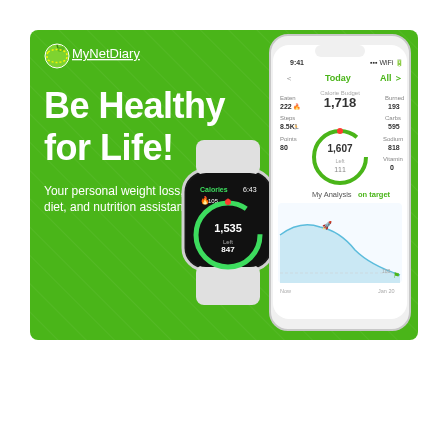[Figure (infographic): MyNetDiary app advertisement banner on green background showing Apple Watch and iPhone app screenshots with tagline 'Be Healthy for Life!' and subtitle 'Your personal weight loss, diet, and nutrition assistant.']